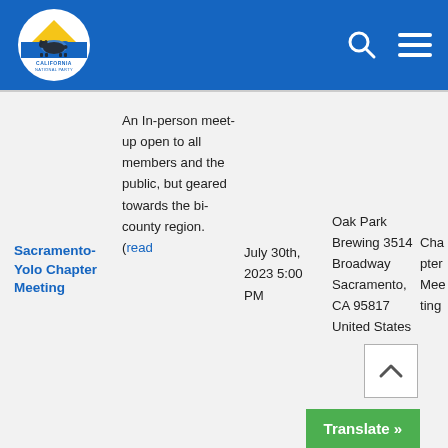California National Party
Sacramento-Yolo Chapter Meeting
An In-person meet-up open to all members and the public, but geared towards the bi-county region. (read
July 30th, 2023 5:00 PM
Oak Park Brewing 3514 Broadway Sacramento, CA 95817 United States
Chapter Meeting